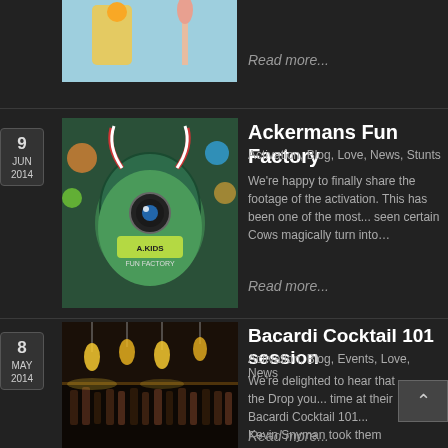[Figure (photo): Partial view of top article image, appears to be a colorful illustration]
Read more...
9 JUN 2014
[Figure (photo): A large green globe character with one eye and red/white striped tentacles, labeled A.KIDS FUN FACTORY, with colorful decorations in background]
Ackermans Fun Factory
Activation, Blog, Love, News, Stunts
We're happy to finally share the footage of the activation. This has been one of the most... seen certain Cows magically turn into...
Read more...
8 MAY 2014
[Figure (photo): Dark bar interior with warm pendant lights hanging above rows of bottles]
Bacardi Cocktail 101 session
Activation, Blog, Events, Love, News
We're delighted to hear that the Drop you... time at their Bacardi Cocktail 101... Kevin Snyman took them through...
Read more...